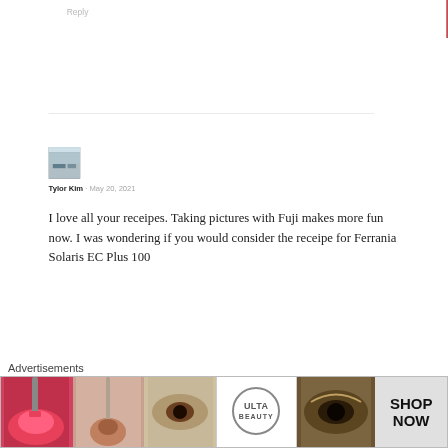Reply
[Figure (photo): Small avatar thumbnail showing an outdoor winter scene with snow and a structure]
Tylor Kim · May 20, 2021
I love all your receipes. Taking pictures with Fuji makes more fun now. I was wondering if you would consider the receipe for Ferrania Solaris EC Plus 100
Advertisements
[Figure (photo): ULTA beauty advertisement banner showing cosmetic/makeup imagery with SHOP NOW call to action]